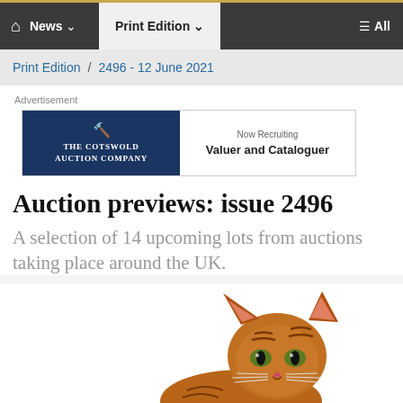🏠 News ∨   Print Edition ∨   ≡ All
Print Edition / 2496 - 12 June 2021
[Figure (other): Advertisement for The Cotswold Auction Company — Now Recruiting Valuer and Cataloguer]
Auction previews: issue 2496
A selection of 14 upcoming lots from auctions taking place around the UK.
[Figure (photo): Ceramic or porcelain cat figurine with tabby markings, partially visible from mid-section up, at bottom of page]